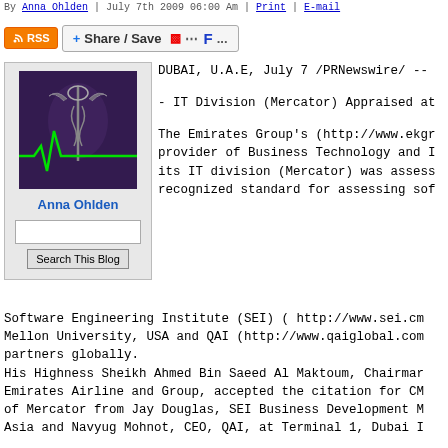By Anna Ohlden | July 7th 2009 06:00 Am | Print | E-mail
[Figure (other): RSS and Share/Save social sharing toolbar with Flipboard and other icons]
[Figure (photo): Avatar image with green heartbeat line on dark purple background, medical caduceus symbol]
Anna Ohlden
Search This Blog
DUBAI, U.A.E, July 7 /PRNewswire/ --
- IT Division (Mercator) Appraised at
The Emirates Group's (http://www.ekgr provider of Business Technology and I its IT division (Mercator) was assess recognized standard for assessing sof Software Engineering Institute (SEI) ( http://www.sei.cm Mellon University, USA and QAI (http://www.qaiglobal.com partners globally.
His Highness Sheikh Ahmed Bin Saeed Al Maktoum, Chairmar Emirates Airline and Group, accepted the citation for CM of Mercator from Jay Douglas, SEI Business Development M Asia and Navyug Mohnot, CEO, QAI, at Terminal 1, Dubai I